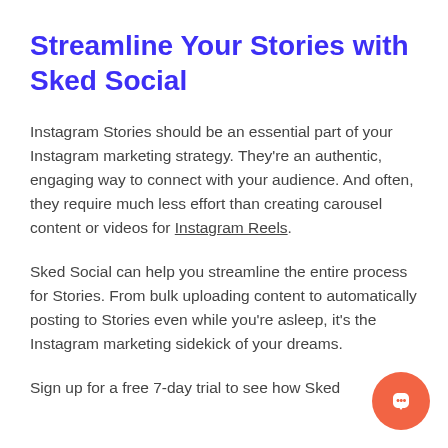Streamline Your Stories with Sked Social
Instagram Stories should be an essential part of your Instagram marketing strategy. They're an authentic, engaging way to connect with your audience. And often, they require much less effort than creating carousel content or videos for Instagram Reels.
Sked Social can help you streamline the entire process for Stories. From bulk uploading content to automatically posting to Stories even while you're asleep, it's the Instagram marketing sidekick of your dreams.
Sign up for a free 7-day trial to see how Sked